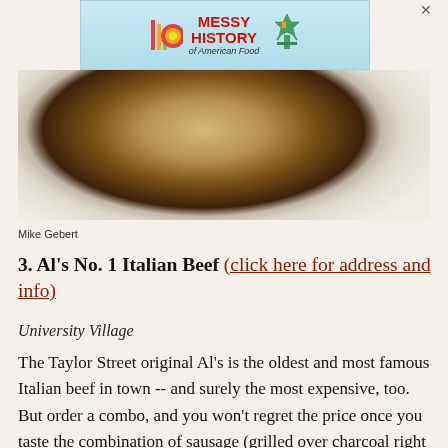[Figure (photo): Advertisement banner for 'Messy History of American Food' with colorful logo and Statue of Liberty graphic]
[Figure (photo): Close-up food photo of an Italian beef sandwich wrapped in white paper, showing meat and bread]
Mike Gebert
3. Al's No. 1 Italian Beef (click here for address and info)
University Village
The Taylor Street original Al's is the oldest and most famous Italian beef in town -- and surely the most expensive, too. But order a combo, and you won't regret the price once you taste the combination of sausage (grilled over charcoal right there behind the cash register), and beef in Al's unique, cinnamon-tinged, grease-unafraid gravy. The